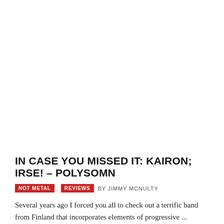IN CASE YOU MISSED IT: KAIRON; IRSE! – POLYSOMN
NOT METAL , REVIEWS BY JIMMY MCNULTY
Several years ago I forced you all to check out a terrific band from Finland that incorporates elements of progressive ...